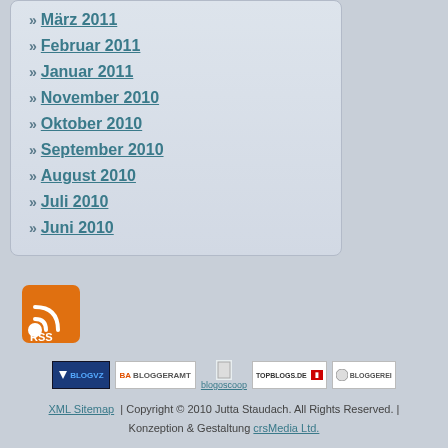März 2011
Februar 2011
Januar 2011
November 2010
Oktober 2010
September 2010
August 2010
Juli 2010
Juni 2010
[Figure (logo): RSS feed icon orange square with wifi symbol and RSS text]
[Figure (logo): Row of blog directory badges: BlogVZ, Bloggeramt, blogoscoop, topblogs.de, Bloggerei]
XML Sitemap | Copyright © 2010 Jutta Staudach. All Rights Reserved. | Konzeption & Gestaltung crsMedia Ltd.